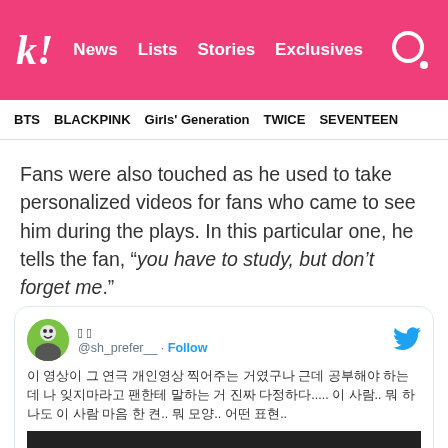k! News Lists Stories Exclusives
BTS   BLACKPINK   Girls' Generation   TWICE   SEVENTEEN
Fans were also touched as he used to take personalized videos for fans who came to see him during the plays. In this particular one, he tells the fan, “you have to study, but don’t forget me.”
[Figure (screenshot): Embedded tweet from @sh_prefer__ with Korean text and a video thumbnail showing 'Watch on Twitter']